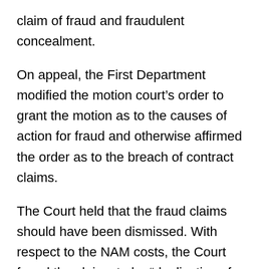claim of fraud and fraudulent concealment.
On appeal, the First Department modified the motion court’s order to grant the motion as to the causes of action for fraud and otherwise affirmed the order as to the breach of contract claims.
The Court held that the fraud claims should have been dismissed. With respect to the NAM costs, the Court found the claims to be “duplicative of the breach of contract claims; even though the alleged misstatements and omissions related to matters of present fact….” The Court explained that “the matters in question were not collateral to the purchase agreement but were within the scope of